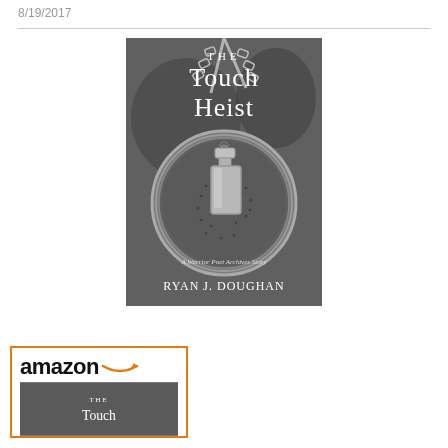8/19/2017
[Figure (photo): Book cover of 'The Touch Heist' by Ryan J. Doughan — A Warrior Poet Archives Story. Black and white cover featuring a pendant/medallion with a nail polish bottle, hanging from a chain.]
[Figure (screenshot): Amazon widget showing the Amazon logo with orange arrow and a thumbnail of The Touch Heist book cover.]